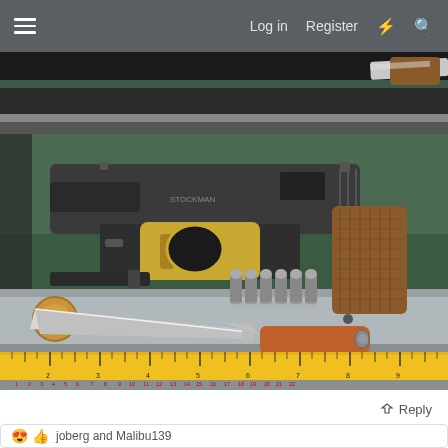Log in  Register
[Figure (photo): Partial top image showing a knife handle with wooden grip and metallic blade on a dark background]
[Figure (photo): Photo of a pistol (semi-automatic handgun) with gold trigger guard and wooden grip, several bullet cartridges, a dagger/knife with silver blade, a folding pocket knife with orange/red handle, a coin, and a measuring tape ruler, displayed on a reflective surface in a glass case]
Reply
joberg and Malibu139